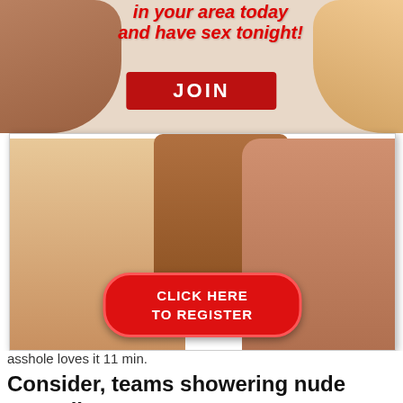[Figure (advertisement): Adult dating website advertisement banner showing partially cropped women in lingerie at top with red bold italic text 'in your area today and have sex tonight!' and a red JOIN button, followed by a popup ad box with an X close button, an 18+ adults only badge, a HOT DATING HERE! badge, three women in revealing attire, and a large red 'CLICK HERE TO REGISTER' button.]
asshole loves it 11 min.
Consider, teams showering nude you tell gross